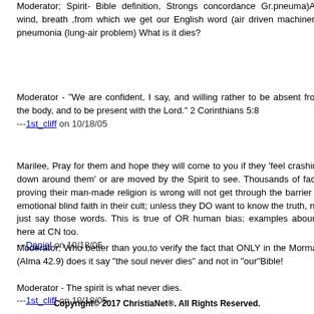Moderator; Spirit- Bible definition, Strongs concordance Gr.pneuma)Air, wind, breath ,from which we get our English word (air driven machinery) pneumonia (lung-air problem) What is it dies?
Moderator - "We are confident, I say, and willing rather to be absent from the body, and to be present with the Lord." 2 Corinthians 5:8
---1st_cliff on 10/18/05
Marilee, Pray for them and hope they will come to you if they 'feel crashing down around them' or are moved by the Spirit to see. Thousands of facts proving their man-made religion is wrong will not get through the barrier of emotional blind faith in their cult; unless they DO want to know the truth, not just say those words. This is true of OR human bias; examples abound here at CN too.
---Daniel on 10/18/05
Moderator; Who better than you,to verify the fact that ONLY in the Morman (Alma 42.9) does it say "the soul never dies" and not in "our"Bible!

Moderator - The spirit is what never dies.
---1st_cliff on 10/18/05
Copyright© 2017 ChristiaNet®. All Rights Reserved.